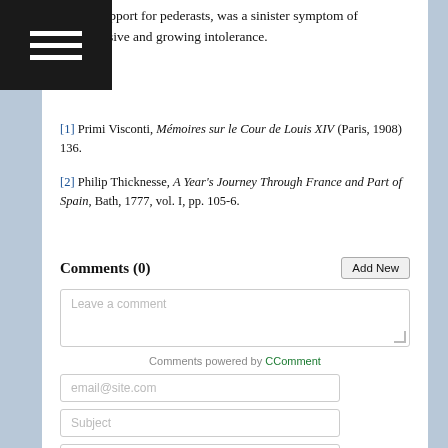his support for pederasts, was a sinister symptom of pervasive and growing intolerance.
[1] Primi Visconti, Mémoires sur le Cour de Louis XIV (Paris, 1908) 136.
[2] Philip Thicknesse, A Year's Journey Through France and Part of Spain, Bath, 1777, vol. I, pp. 105-6.
Comments (0)
Leave a comment
Comments powered by CComment
email@site.com
Subject
Your Message